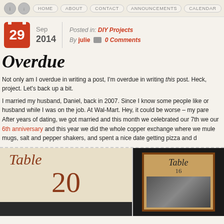HOME | ABOUT | CONTACT | ANNOUNCEMENTS | CALENDAR
Posted in: DIY Projects
By julie  0 Comments
Sep 2014  29
Overdue
Not only am I overdue in writing a post, I'm overdue in writing this post. Heck, project. Let's back up a bit.

I married my husband, Daniel, back in 2007. Since I know some people like or husband while I was on the job. At Wal-Mart. Hey, it could be worse – my pare After years of dating, we got married and this month we celebrated our 7th we our 6th anniversary and this year we did the whole copper exchange where we mule mugs, salt and pepper shakers, and spent a nice date getting pizza and d
[Figure (photo): Two photos of table number cards. Left photo shows a table number card with cursive text and the number 20 on a cream background with dark bottom. Right photo shows a framed table number card reading 'Table 16' on a dark background.]